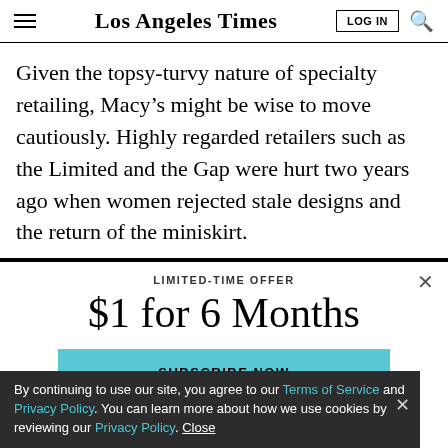Los Angeles Times
Given the topsy-turvy nature of specialty retailing, Macy’s might be wise to move cautiously. Highly regarded retailers such as the Limited and the Gap were hurt two years ago when women rejected stale designs and the return of the miniskirt.
LIMITED-TIME OFFER
$1 for 6 Months
SUBSCRIBE NOW
By continuing to use our site, you agree to our Terms of Service and Privacy Policy. You can learn more about how we use cookies by reviewing our Privacy Policy. Close